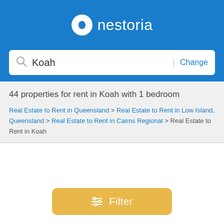[Figure (logo): Nestoria logo: white circle with 'n' icon and white text 'nestoria' on blue background]
Koah | Change
44 properties for rent in Koah with 1 bedroom
Real Estate to Rent in Queensland > Real Estate to Rent in Low Island, Queensland > Real Estate to Rent in Cairns Regional > Real Estate to Rent in Koah
[Figure (other): Filter button with sliders icon]